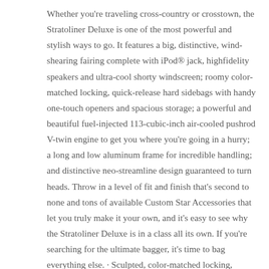Whether you're traveling cross-country or crosstown, the Stratoliner Deluxe is one of the most powerful and stylish ways to go. It features a big, distinctive, wind-shearing fairing complete with iPod® jack, highfidelity speakers and ultra-cool shorty windscreen; roomy color-matched locking, quick-release hard sidebags with handy one-touch openers and spacious storage; a powerful and beautiful fuel-injected 113-cubic-inch air-cooled pushrod V-twin engine to get you where you're going in a hurry; a long and low aluminum frame for incredible handling; and distinctive neo-streamline design guaranteed to turn heads. Throw in a level of fit and finish that's second to none and tons of available Custom Star Accessories that let you truly make it your own, and it's easy to see why the Stratoliner Deluxe is in a class all its own. If you're searching for the ultimate bagger, it's time to bag everything else. · Sculpted, color-matched locking, quick-release hard sidebags provide ample storage ·· Highly stylish and functional fairing cockpit includes iPod® jack and powerful speakers Convenient, onetouch audio controls right where you need them.